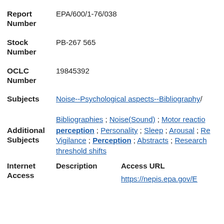Report Number: EPA/600/1-76/038
Stock Number: PB-267 565
OCLC Number: 19845392
Subjects: Noise--Psychological aspects--Bibliography; Bibliographies ; Noise(Sound) ; Motor reaction perception ; Personality ; Sleep ; Arousal ; Vigilance ; Perception ; Abstracts ; Research threshold shifts
Additional Subjects: (same as above)
| Description | Access URL |
| --- | --- |
|  | https://nepis.epa.gov/E |